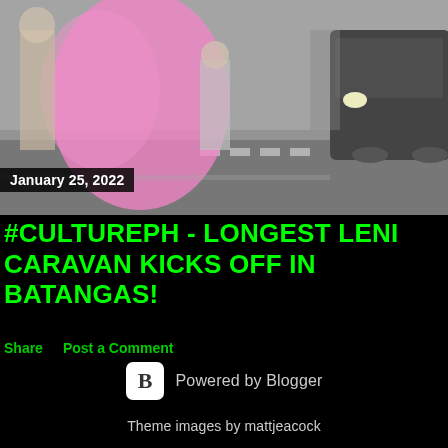[Figure (photo): Blurred street scene with people walking and vehicles, pink blurred figure in foreground, cars visible on right side]
January 25, 2022
#CULTUREPH - LONGEST LENI CARAVAN KICKS OFF IN BATANGAS!
Share    Post a Comment
Powered by Blogger
Theme images by mattjeacock
ohohleo_ph